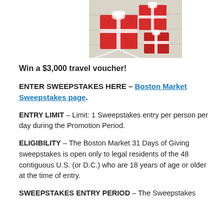[Figure (photo): Red gift boxes wrapped with white ribbons on a light wooden background]
Win a $3,000 travel voucher!
ENTER SWEEPSTAKES HERE – Boston Market Sweepstakes page.
ENTRY LIMIT – Limit: 1 Sweepstakes entry per person per day during the Promotion Period.
ELIGIBILITY – The Boston Market 31 Days of Giving sweepstakes is open only to legal residents of the 48 contiguous U.S. (or D.C.) who are 18 years of age or older at the time of entry.
SWEEPSTAKES ENTRY PERIOD – The Sweepstakes